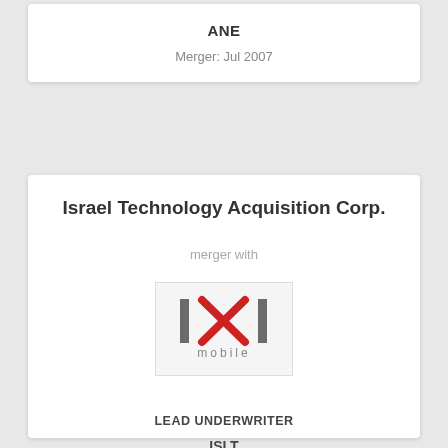ANE
Merger: Jul 2007
Israel Technology Acquisition Corp.
merger with
[Figure (logo): IXI mobile logo — two vertical bars with a red X between them, and the word 'mobile' below in gray spaced letters]
LEAD UNDERWRITER
ISLT
Merger: Jun 2007